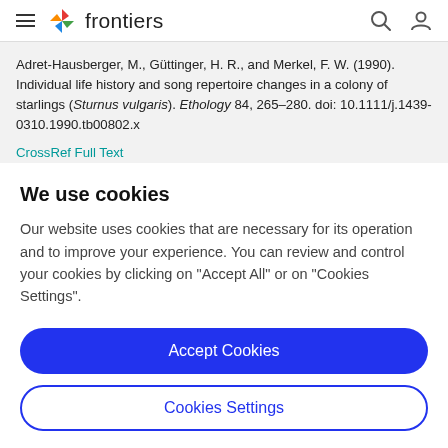frontiers
Adret-Hausberger, M., Güttinger, H. R., and Merkel, F. W. (1990). Individual life history and song repertoire changes in a colony of starlings (Sturnus vulgaris). Ethology 84, 265–280. doi: 10.1111/j.1439-0310.1990.tb00802.x
CrossRef Full Text
We use cookies
Our website uses cookies that are necessary for its operation and to improve your experience. You can review and control your cookies by clicking on "Accept All" or on "Cookies Settings".
Accept Cookies
Cookies Settings